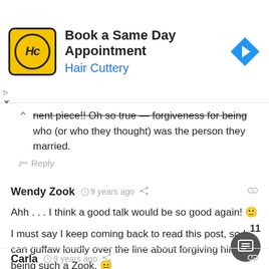[Figure (screenshot): Hair Cuttery advertisement banner: yellow logo with HC in circle, text 'Book a Same Day Appointment' and 'Hair Cuttery' in blue, blue diamond arrow icon on right]
nent piece!! Oh so true — forgiveness for being who (or who they thought) was the person they married.
Reply
Wendy Zook  9 years ago
Ahh . . . I think a good talk would be so good again! 🙂
I must say I keep coming back to read this post, so I can guffaw loudly over the line about forgiving him for being such a Zook. 🙂
Reply
Carla  9 years ago